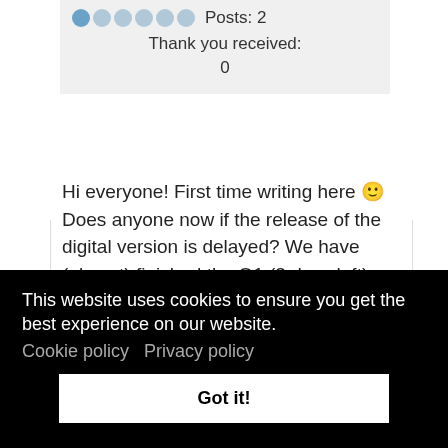Posts: 2
Thank you received: 0
Hi everyone! First time writing here 🙂 Does anyone now if the release of the digital version is delayed? We have (almost) finished the Q1 (3 days left) and according to the Flex page...
This website uses cookies to ensure you get the best experience on our website.
Cookie policy   Privacy policy
Got it!